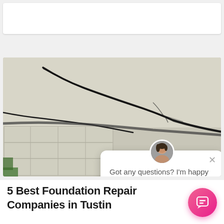[Figure (photo): White advertisement or banner box at the top of the page]
[Figure (photo): Photograph of cracked foundation wall showing large structural cracks in white/gray concrete or stucco material, with a chat widget overlay. The chat popup shows a woman's avatar, an X close button, and the text 'Got any questions? I'm happy to help.']
5 Best Foundation Repair Companies in Tustin